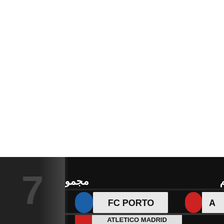[Figure (photo): Black background section showing Arabic text overlay reading 'القراعة مجموعات دوري أبطال أوروبا موسم' and football club name plates including FC Porto, Atletico Madrid, and Ajax at the bottom portion of the page.]